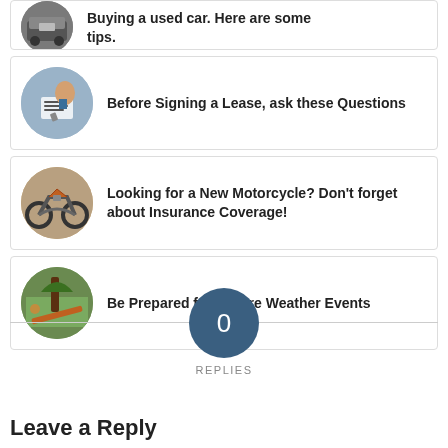[Figure (illustration): Partial card at top: circular image of a used car dashboard/car, with partial text 'Buying a used car. Here are some tips.']
[Figure (illustration): Card with circular image of a person signing a lease document]
Before Signing a Lease, ask these Questions
[Figure (illustration): Card with circular image of a motorcycle]
Looking for a New Motorcycle? Don't forget about Insurance Coverage!
[Figure (illustration): Card with circular image of storm/tree damage]
Be Prepared for Severe Weather Events
0 REPLIES
Leave a Reply